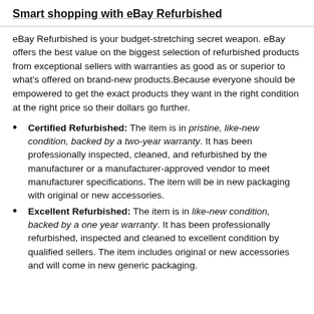Smart shopping with eBay Refurbished
eBay Refurbished is your budget-stretching secret weapon. eBay offers the best value on the biggest selection of refurbished products from exceptional sellers with warranties as good as or superior to what's offered on brand-new products.Because everyone should be empowered to get the exact products they want in the right condition at the right price so their dollars go further.
Certified Refurbished: The item is in pristine, like-new condition, backed by a two-year warranty. It has been professionally inspected, cleaned, and refurbished by the manufacturer or a manufacturer-approved vendor to meet manufacturer specifications. The item will be in new packaging with original or new accessories.
Excellent Refurbished: The item is in like-new condition, backed by a one year warranty. It has been professionally refurbished, inspected and cleaned to excellent condition by qualified sellers. The item includes original or new accessories and will come in new generic packaging.